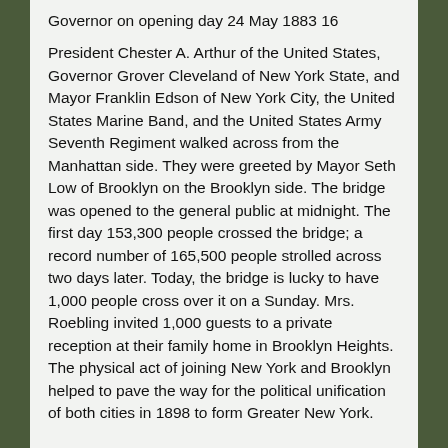Governor on opening day 24 May 1883 16
President Chester A. Arthur of the United States, Governor Grover Cleveland of New York State, and Mayor Franklin Edson of New York City, the United States Marine Band, and the United States Army Seventh Regiment walked across from the Manhattan side. They were greeted by Mayor Seth Low of Brooklyn on the Brooklyn side. The bridge was opened to the general public at midnight. The first day 153,300 people crossed the bridge; a record number of 165,500 people strolled across two days later. Today, the bridge is lucky to have 1,000 people cross over it on a Sunday. Mrs. Roebling invited 1,000 guests to a private reception at their family home in Brooklyn Heights. The physical act of joining New York and Brooklyn helped to pave the way for the political unification of both cities in 1898 to form Greater New York.